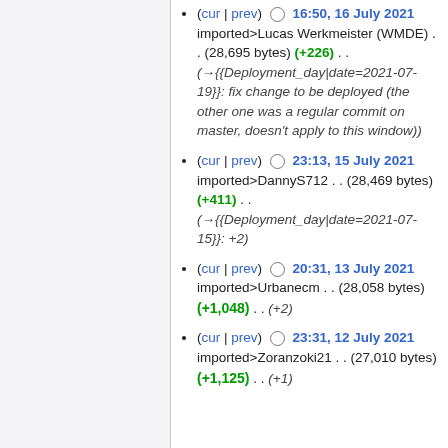(cur | prev) ○ 16:50, 16 July 2021 imported>Lucas Werkmeister (WMDE) . . (28,695 bytes) (+226) . . (→{{Deployment_day|date=2021-07-19}}: fix change to be deployed (the other one was a regular commit on master, doesn't apply to this window))
(cur | prev) ○ 23:13, 15 July 2021 imported>DannyS712 . . (28,469 bytes) (+411) . . (→{{Deployment_day|date=2021-07-15}}: +2)
(cur | prev) ○ 20:31, 13 July 2021 imported>Urbanecm . . (28,058 bytes) (+1,048) . . (+2)
(cur | prev) ○ 23:31, 12 July 2021 imported>Zoranzoki21 . . (27,010 bytes) (+1,125) . . (+1)